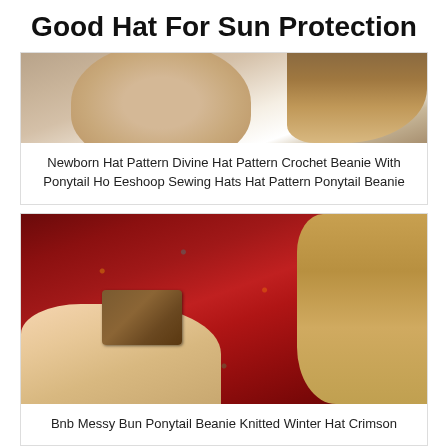Good Hat For Sun Protection
[Figure (photo): Close-up of a woman with long blonde hair wearing a white top, only hair and top visible]
Newborn Hat Pattern Divine Hat Pattern Crochet Beanie With Ponytail Ho Eeshoop Sewing Hats Hat Pattern Ponytail Beanie
[Figure (photo): Close-up of a woman wearing a red multicolored speckled knitted beanie with a brown leather logo patch, with blonde hair visible]
Bnb Messy Bun Ponytail Beanie Knitted Winter Hat Crimson